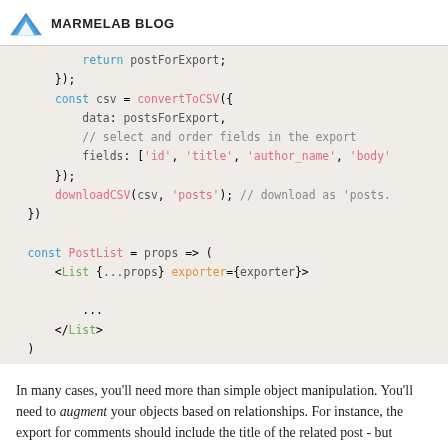MARMELAB BLOG
[Figure (screenshot): Code block showing JavaScript: return postForExport; }); const csv = convertToCSV({ data: postsForExport, // select and order fields in the export fields: ['id', 'title', 'author_name', 'body' }); downloadCSV(csv, 'posts'); // download as 'posts. }) const PostList = props => ( <List {...props} exporter={exporter}> ... </List> )]
In many cases, you'll need more than simple object manipulation. You'll need to augment your objects based on relationships. For instance, the export for comments should include the title of the related post - but